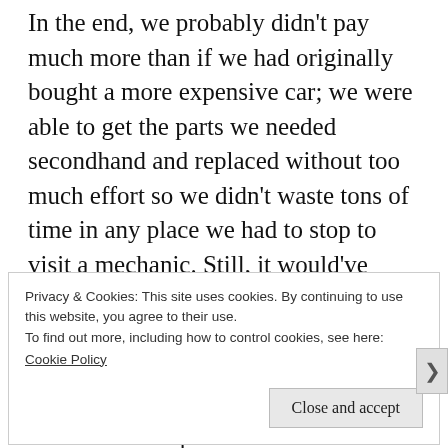In the end, we probably didn't pay much more than if we had originally bought a more expensive car; we were able to get the parts we needed secondhand and replaced without too much effort so we didn't waste tons of time in any place we had to stop to visit a mechanic. Still, it would've been beneficial to know about the potential for these problems beforehand so we could decide if they were something we wanted to deal with or if we'd pass in favour of another car. The cost of a pre-sale mechanic
Privacy & Cookies: This site uses cookies. By continuing to use this website, you agree to their use.
To find out more, including how to control cookies, see here:
Cookie Policy
Close and accept